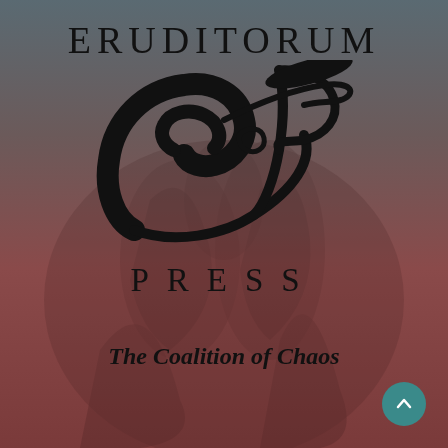ERUDITORUM
[Figure (logo): Eruditorum Press stylized 'EP' calligraphic logo mark in black ink — a sweeping cursive E combined with P letterforms]
PRESS
The Coalition of Chaos